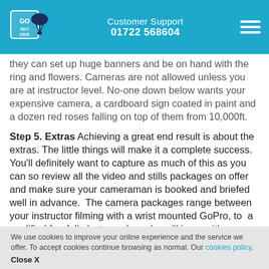Customer Support 01722 568604
they can set up huge banners and be on hand with the ring and flowers. Cameras are not allowed unless you are at instructor level. No-one down below wants your expensive camera, a cardboard sign coated in paint and a dozen red roses falling on top of them from 10,000ft.
Step 5. Extras Achieving a great end result is about the extras. The little things will make it a complete success. You'll definitely want to capture as much of this as you can so review all the video and stills packages on offer and make sure your cameraman is booked and briefed well in advance. The camera packages range between your instructor filming with a wrist mounted GoPro, to a qualified freefall photographer who will jump with you. Just don't have too much fun you forget why you are there. Also, between
We use cookies to improve your online experience and the service we offer. To accept cookies continue browsing as normal. Our cookies policy.
Close X